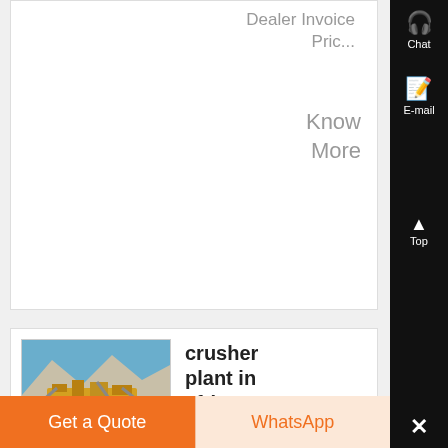Dealer Invoice Pric...
Know More
[Figure (photo): Crusher plant machinery at an open-air mining site in Africa, with yellow heavy equipment under blue sky. SKY logo visible.]
crusher plant in africa
Crusher Plant Sauth Africa,Crusher Mills , refining
Chat
E-mail
Top
Get a Quote
WhatsApp